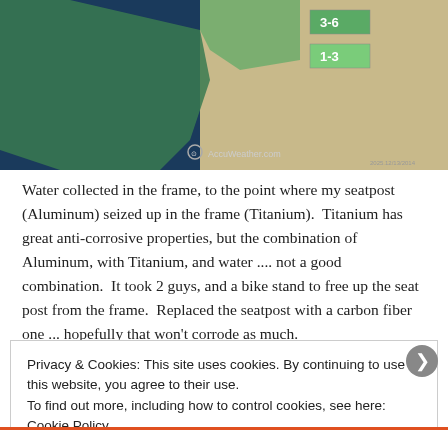[Figure (map): AccuWeather.com map showing western United States with green shaded precipitation forecast regions labeled 3-6 and 1-3]
Water collected in the frame, to the point where my seatpost (Aluminum) seized up in the frame (Titanium).  Titanium has great anti-corrosive properties, but the combination of Aluminum, with Titanium, and water .... not a good combination.  It took 2 guys, and a bike stand to free up the seat post from the frame.  Replaced the seatpost with a carbon fiber one ... hopefully that won't corrode as much.
Privacy & Cookies: This site uses cookies. By continuing to use this website, you agree to their use.
To find out more, including how to control cookies, see here: Cookie Policy